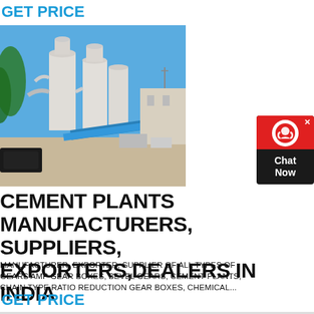GET PRICE
[Figure (photo): Industrial cement plant with large white cylindrical silos, pipes, and blue conveyor belt machinery outdoors under a blue sky.]
[Figure (other): Chat Now widget with red top section showing a headset icon and dark body with white text 'Chat Now'.]
CEMENT PLANTS MANUFACTURERS, SUPPLIERS, EXPORTERS,DEALERS IN INDIA
MANUFACTURER, EXPORTER, SUPPLIER OF ALL TYPES OF GEARS AMP GEAR BOXES, BEVEL GEARS, CEMENT PLANTS, CHAIN TYPE RATIO REDUCTION GEAR BOXES, CHEMICAL...
GET PRICE